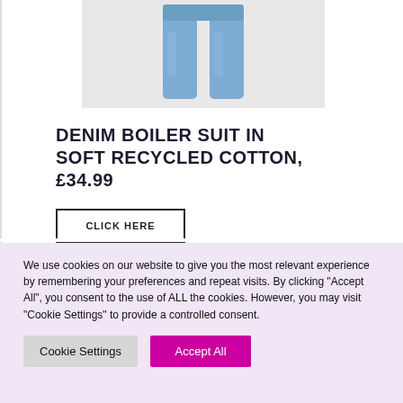[Figure (photo): Product image of denim jeans/boiler suit legs on a light grey background]
DENIM BOILER SUIT IN SOFT RECYCLED COTTON, £34.99
CLICK HERE
We use cookies on our website to give you the most relevant experience by remembering your preferences and repeat visits. By clicking "Accept All", you consent to the use of ALL the cookies. However, you may visit "Cookie Settings" to provide a controlled consent.
Cookie Settings   Accept All